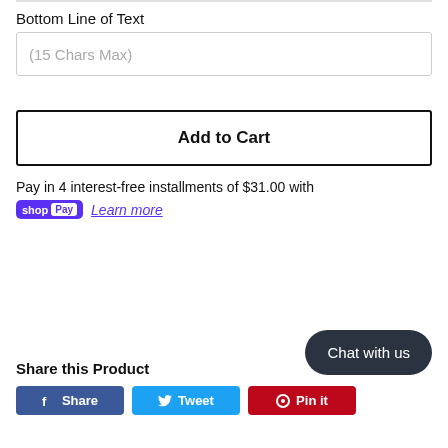Bottom Line of Text
(15 Chars Max)
Add to Cart
Pay in 4 interest-free installments of $31.00 with
shop Pay  Learn more
Chat with us
Share this Product
Share  Tweet  Pin it